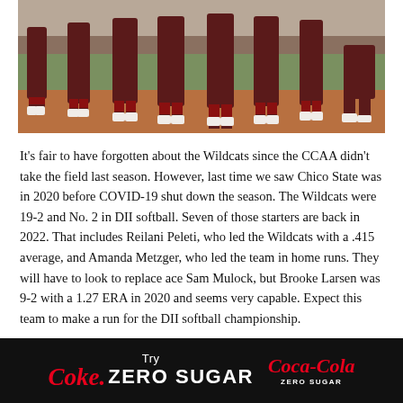[Figure (photo): Sports team photo showing athletes in dark red/maroon uniforms standing at what appears to be a softball field, with their legs and lower bodies visible from below the knees]
It’s fair to have forgotten about the Wildcats since the CCAA didn’t take the field last season. However, last time we saw Chico State was in 2020 before COVID-19 shut down the season. The Wildcats were 19-2 and No. 2 in DII softball. Seven of those starters are back in 2022. That includes Reilani Peleti, who led the Wildcats with a .415 average, and Amanda Metzger, who led the team in home runs. They will have to look to replace ace Sam Mulock, but Brooke Larsen was 9-2 with a 1.27 ERA in 2020 and seems very capable. Expect this team to make a run for the DII softball championship.
[Figure (logo): Coca-Cola Zero Sugar advertisement banner on black background with red Coke Zero Sugar text and Coca-Cola logo]